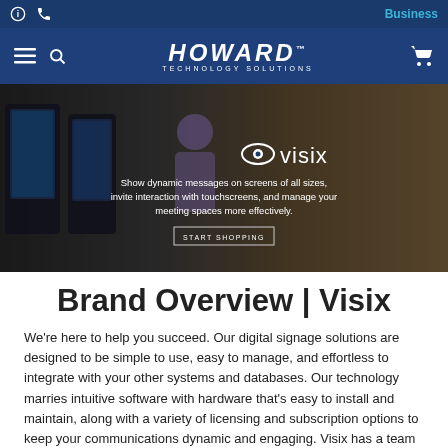Business
[Figure (logo): Howard Technology Solutions logo with navigation icons (menu, search, cart)]
[Figure (photo): Visix brand hero banner showing digital signage kiosks with text: 'Show dynamic messages on screens of all sizes, invite interaction with touchscreens, and manage your meeting spaces more effectively.' with START SHOPPING button]
Brand Overview | Visix
We're here to help you succeed. Our digital signage solutions are designed to be simple to use, easy to manage, and effortless to integrate with your other systems and databases. Our technology marries intuitive software with hardware that's easy to install and maintain, along with a variety of licensing and subscription options to keep your communications dynamic and engaging. Visix has a team of experts who are passionate about visual communications, and we'd love to see our digital signage software results